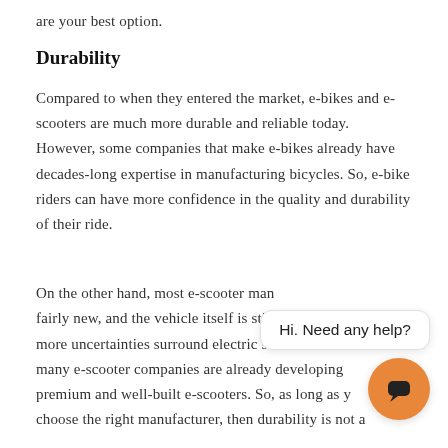are your best option.
Durability
Compared to when they entered the market, e-bikes and e-scooters are much more durable and reliable today. However, some companies that make e-bikes already have decades-long expertise in manufacturing bicycles. So, e-bike riders can have more confidence in the quality and durability of their ride.
On the other hand, most e-scooter manufacturers are fairly new, and the vehicle itself is still evolving, so more uncertainties surround electric scooters. However, many e-scooter companies are already developing premium and well-built e-scooters. So, as long as you choose the right manufacturer, then durability is not a
[Figure (other): Chat widget overlay with speech bubble saying 'Hi. Need any help?' and an orange circular chat icon with a speech bubble icon]